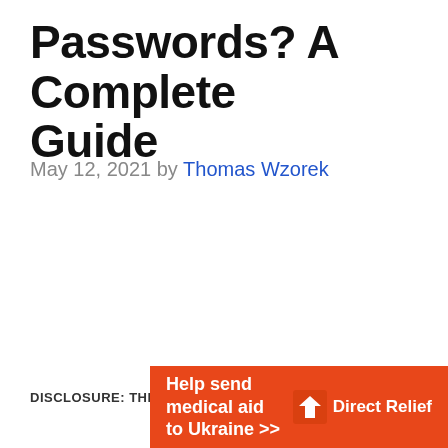Passwords? A Complete Guide
May 12, 2021 by Thomas Wzorek
DISCLOSURE: THIS POST MAY CONTAIN
[Figure (infographic): Orange advertisement banner for Direct Relief reading 'Help send medical aid to Ukraine >>' with Direct Relief logo on right side]